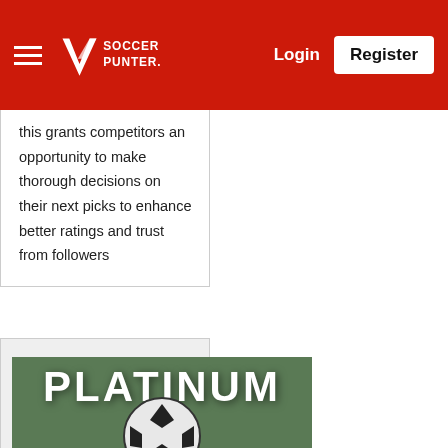Soccer Punter — Login | Register
this grants competitors an opportunity to make thorough decisions on their next picks to enhance better ratings and trust from followers
Play in SoccerPunter Tipsters Competition And Improve Your Betting Skills
[Figure (photo): Image showing the word PLATINUM in large white bold text over a blurred soccer ball on green grass background]